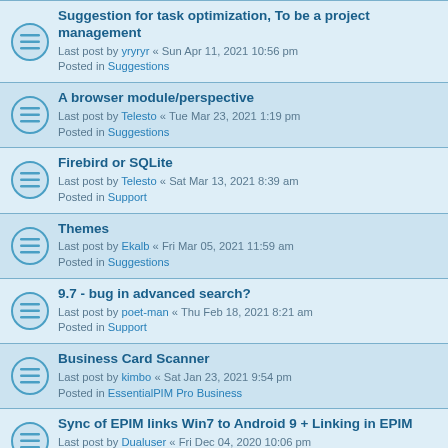Suggestion for task optimization, To be a project management
Last post by yryryr « Sun Apr 11, 2021 10:56 pm
Posted in Suggestions
A browser module/perspective
Last post by Telesto « Tue Mar 23, 2021 1:19 pm
Posted in Suggestions
Firebird or SQLite
Last post by Telesto « Sat Mar 13, 2021 8:39 am
Posted in Support
Themes
Last post by Ekalb « Fri Mar 05, 2021 11:59 am
Posted in Suggestions
9.7 - bug in advanced search?
Last post by poet-man « Thu Feb 18, 2021 8:21 am
Posted in Support
Business Card Scanner
Last post by kimbo « Sat Jan 23, 2021 9:54 pm
Posted in EssentialPIM Pro Business
Sync of EPIM links Win7 to Android 9 + Linking in EPIM
Last post by Dualuser « Fri Dec 04, 2020 10:06 pm
Posted in EPIM for Android
[SOLVED] I can't sync my contacts groups to and from Google
Last post by Allekz « Sat Oct 31, 2020 5:06 am
Posted in Support